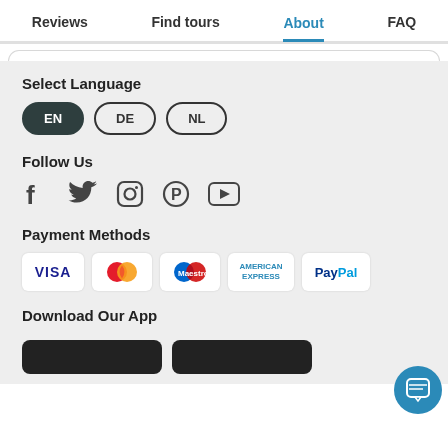Reviews  Find tours  About  FAQ
Select Language
EN  DE  NL
Follow Us
[Figure (infographic): Social media icons: Facebook, Twitter, Instagram, Pinterest, YouTube]
Payment Methods
[Figure (infographic): Payment method logos: VISA, Mastercard, Maestro, American Express, PayPal]
Download Our App